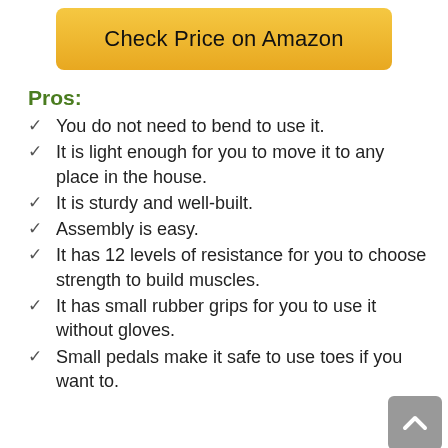[Figure (other): Check Price on Amazon button with golden/yellow background]
Pros:
You do not need to bend to use it.
It is light enough for you to move it to any place in the house.
It is sturdy and well-built.
Assembly is easy.
It has 12 levels of resistance for you to choose strength to build muscles.
It has small rubber grips for you to use it without gloves.
Small pedals make it safe to use toes if you want to.